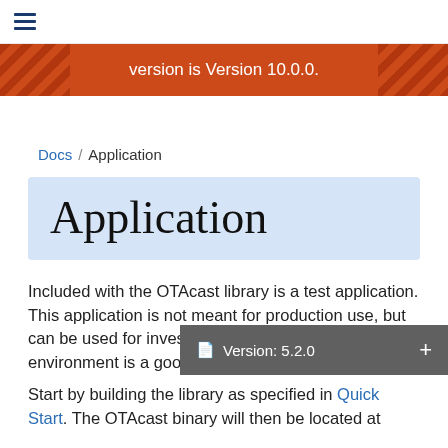≡
version is Version 10.0.0.
Docs / Application
Application
Included with the OTAcast library is a test application. This application is not meant for production use, but can be used for investigating whether or not a given environment is a good
Version: 5.2.0
Start by building the library as specified in Quick Start. The OTAcast binary will then be located at